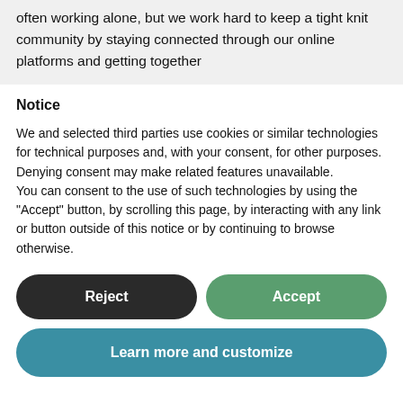often working alone, but we work hard to keep a tight knit community by staying connected through our online platforms and getting together
Notice
We and selected third parties use cookies or similar technologies for technical purposes and, with your consent, for other purposes. Denying consent may make related features unavailable.
You can consent to the use of such technologies by using the “Accept” button, by scrolling this page, by interacting with any link or button outside of this notice or by continuing to browse otherwise.
Reject
Accept
Learn more and customize